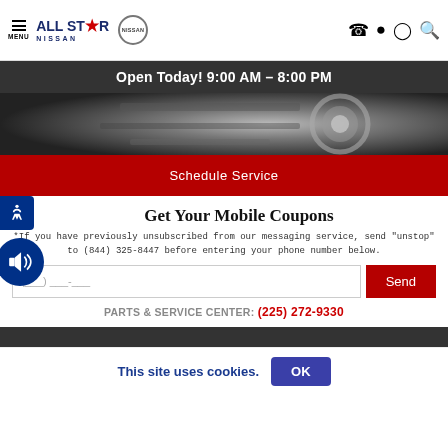All Star Nissan — Navigation bar with MENU, logo, Nissan logo, and icons (phone, location, clock, search)
Open Today! 9:00 AM - 8:00 PM
[Figure (photo): Close-up photo of a car brake/wheel mechanical component, dark tones]
Schedule Service
Get Your Mobile Coupons
If you have previously unsubscribed from our messaging service, send "unstop" to (844) 325-8447 before entering your phone number below.
( ___ ) ___ - ___
Send
PARTS & SERVICE CENTER: (225) 272-9330
This site uses cookies.  OK